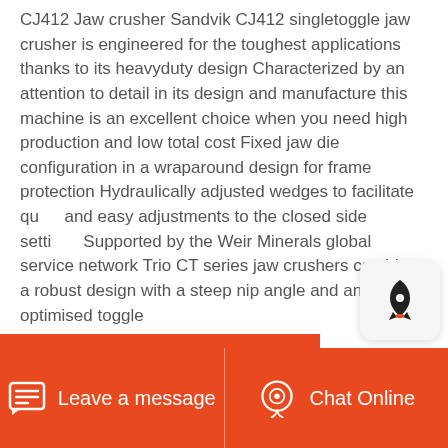CJ412 Jaw crusher Sandvik CJ412 singletoggle jaw crusher is engineered for the toughest applications thanks to its heavyduty design Characterized by an attention to detail in its design and manufacture this machine is an excellent choice when you need high production and low total cost Fixed jaw die configuration in a wraparound design for frame protection Hydraulically adjusted wedges to facilitate quick and easy adjustments to the closed side settings Supported by the Weir Minerals global service network Trio CT series jaw crushers combine a robust design with a steep nip angle and an optimised toggle
Leave a message | Chat Online